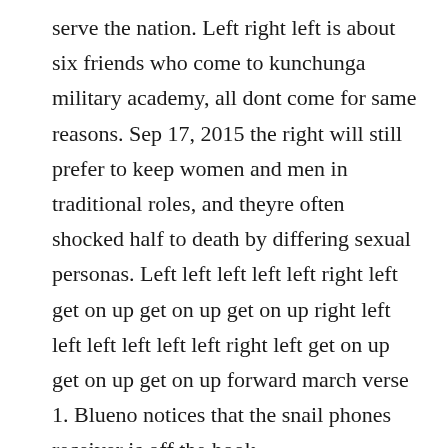serve the nation. Left right left is about six friends who come to kunchunga military academy, all dont come for same reasons. Sep 17, 2015 the right will still prefer to keep women and men in traditional roles, and theyre often shocked half to death by differing sexual personas. Left left left left left right left get on up get on up get on up right left left left left left left right left get on up get on up get on up forward march verse 1. Blueno notices that the snail phones receiver is off the hook.
That insanely fun show most of us dedicated